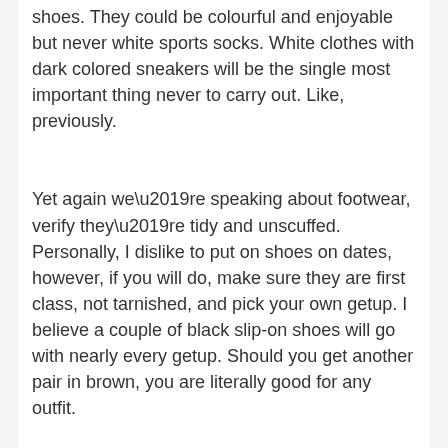shoes. They could be colourful and enjoyable but never white sports socks. White clothes with dark colored sneakers will be the single most important thing never to carry out. Like, previously.
Yet again we’re speaking about footwear, verify they’re tidy and unscuffed. Personally, I dislike to put on shoes on dates, however, if you will do, make sure they are first class, not tarnished, and pick your own getup. I believe a couple of black slip-on shoes will go with nearly every getup. Should you get another pair in brown, you are literally good for any outfit.